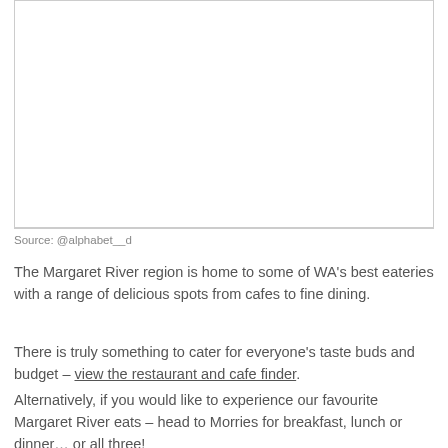[Figure (photo): Image placeholder area above the caption]
Source: @alphabet__d
The Margaret River region is home to some of WA's best eateries with a range of delicious spots from cafes to fine dining.
There is truly something to cater for everyone's taste buds and budget – view the restaurant and cafe finder.
Alternatively, if you would like to experience our favourite Margaret River eats – head to Morries for breakfast, lunch or dinner… or all three!
Website: morries.com.au